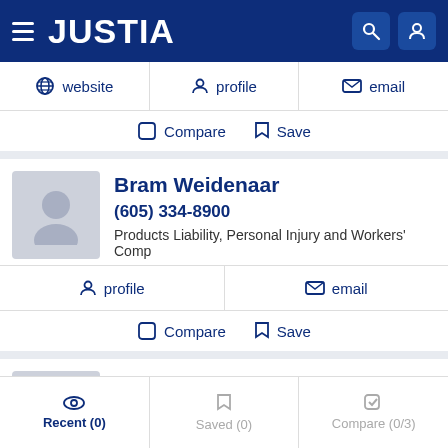JUSTIA
website | profile | email
Compare | Save
Bram Weidenaar
(605) 334-8900
Products Liability, Personal Injury and Workers' Comp
profile | email
Compare | Save
Scott Hoy
Recent (0) | Saved (0) | Compare (0/3)